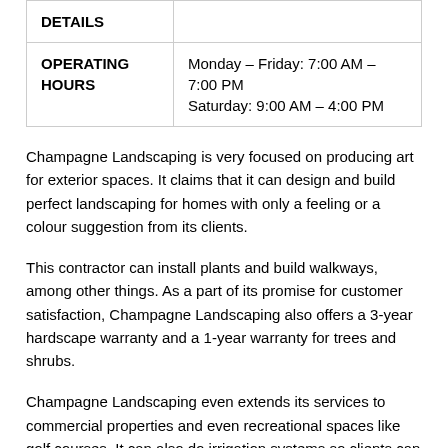| DETAILS |  |
| --- | --- |
| OPERATING HOURS | Monday – Friday: 7:00 AM – 7:00 PM
Saturday: 9:00 AM – 4:00 PM |
Champagne Landscaping is very focused on producing art for exterior spaces. It claims that it can design and build perfect landscaping for homes with only a feeling or a colour suggestion from its clients.
This contractor can install plants and build walkways, among other things. As a part of its promise for customer satisfaction, Champagne Landscaping also offers a 3-year hardscape warranty and a 1-year warranty for trees and shrubs.
Champagne Landscaping even extends its services to commercial properties and even recreational spaces like golf courses. It can also do irrigation systems so clients can